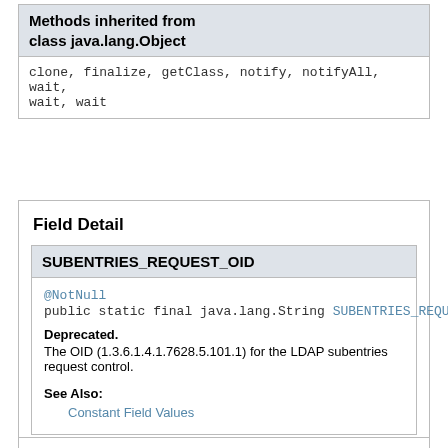Methods inherited from class java.lang.Object
clone, finalize, getClass, notify, notifyAll, wait, wait, wait
Field Detail
SUBENTRIES_REQUEST_OID
@NotNull
public static final java.lang.String SUBENTRIES_REQUEST_OID
Deprecated.
The OID (1.3.6.1.4.1.7628.5.101.1) for the LDAP subentries request control.
See Also:
Constant Field Values